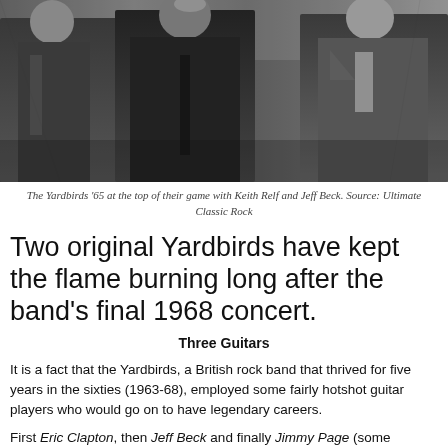[Figure (photo): Black and white photograph of The Yardbirds in 1965, showing band members in jackets, with Keith Relf and Jeff Beck visible.]
The Yardbirds '65 at the top of their game with Keith Relf and Jeff Beck. Source: Ultimate Classic Rock
Two original Yardbirds have kept the flame burning long after the band's final 1968 concert.
Three Guitars
It is a fact that the Yardbirds, a British rock band that thrived for five years in the sixties (1963-68), employed some fairly hotshot guitar players who would go on to have legendary careers.
First Eric Clapton, then Jeff Beck and finally Jimmy Page (some